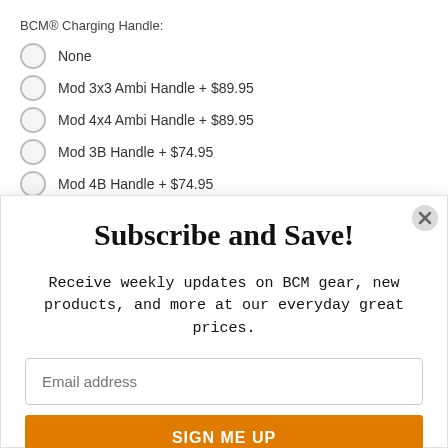BCM® Charging Handle:
None
Mod 3x3 Ambi Handle + $89.95
Mod 4x4 Ambi Handle + $89.95
Mod 3B Handle + $74.95
Mod 4B Handle + $74.95
Subscribe and Save!
Receive weekly updates on BCM gear, new products, and more at our everyday great prices.
Email address
SIGN ME UP